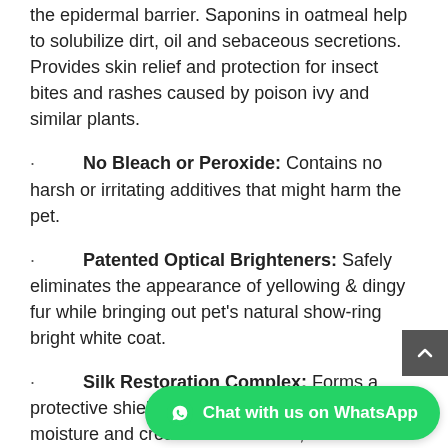the epidermal barrier. Saponins in oatmeal help to solubilize dirt, oil and sebaceous secretions. Provides skin relief and protection for insect bites and rashes caused by poison ivy and similar plants.
No Bleach or Peroxide: Contains no harsh or irritating additives that might harm the pet.
Patented Optical Brighteners: Safely eliminates the appearance of yellowing & dingy fur while bringing out pet's natural show-ring bright white coat.
Silk Restoration Complex: Forms a protective shield around the hair shaft to lock-in moisture and create brilliant shine, while also gently releasing knots and tangles.
Spot-On-Safe: Will not remove topical spot-on flea & tick treatments.